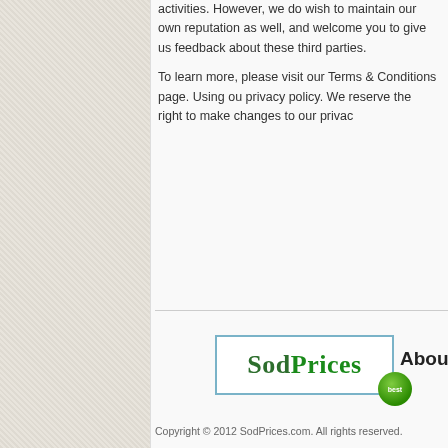activities. However, we do wish to maintain our own reputation as well, and welcome you to give us feedback about these third parties.
To learn more, please visit our Terms & Conditions page. Using ou... privacy policy. We reserve the right to make changes to our privac...
[Figure (logo): SodPrices logo with blue border rectangle and green dot badge]
About Us
Copyright © 2012 SodPrices.com. All rights reserved.